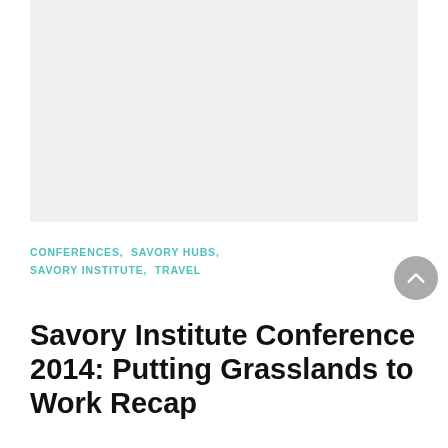[Figure (photo): Light gray placeholder image rectangle at the top of the page]
CONFERENCES,  SAVORY HUBS,  SAVORY INSTITUTE,  TRAVEL
Savory Institute Conference 2014: Putting Grasslands to Work Recap